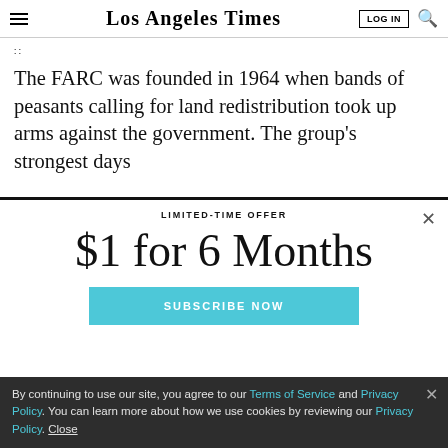Los Angeles Times
The FARC was founded in 1964 when bands of peasants calling for land redistribution took up arms against the government. The group's strongest days
[Figure (screenshot): Paywall modal overlay with LIMITED-TIME OFFER heading, '$1 for 6 Months' promotion, and SUBSCRIBE NOW button in teal/light blue]
By continuing to use our site, you agree to our Terms of Service and Privacy Policy. You can learn more about how we use cookies by reviewing our Privacy Policy. Close